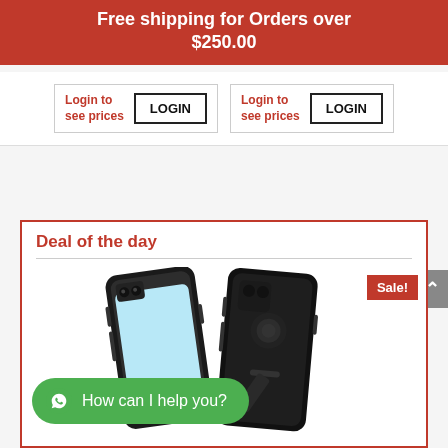Free shipping for Orders over $250.00
Login to see prices LOGIN  Login to see prices LOGIN
Deal of the day
[Figure (photo): Two black rugged phone cases for iPhone, one showing front face and one showing back with a kickstand]
Sale!
How can I help you?